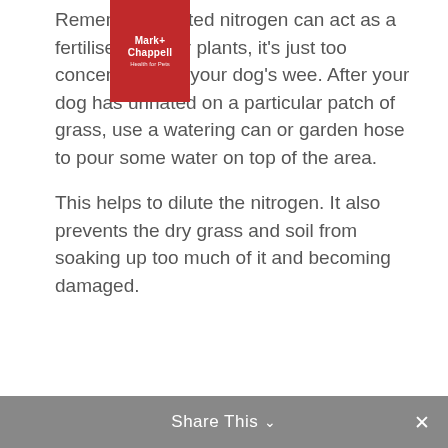[Figure (logo): Mark+ Chappell Health for Pets logo — red square with white text]
Remember, diluted nitrogen can act as a fertiliser for your plants, it's just too concentrated in your dog's wee. After your dog has urinated on a particular patch of grass, use a watering can or garden hose to pour some water on top of the area.
This helps to dilute the nitrogen. It also prevents the dry grass and soil from soaking up too much of it and becoming damaged.
Share This ∨  ✕